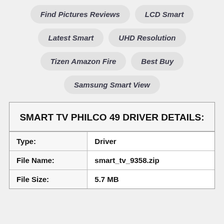Find Pictures Reviews   LCD Smart
Latest Smart   UHD Resolution
Tizen Amazon Fire   Best Buy
Samsung Smart View
| SMART TV PHILCO 49 DRIVER DETAILS: |
| Type: | Driver |
| File Name: | smart_tv_9358.zip |
| File Size: | 5.7 MB |